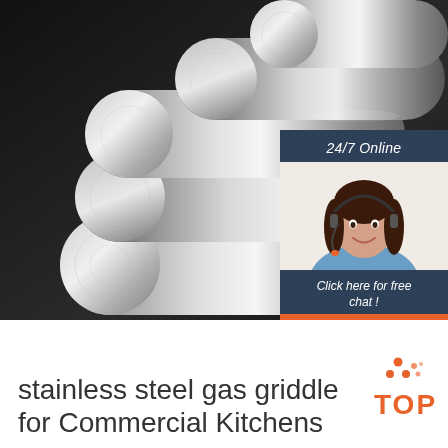[Figure (photo): Black and white photo of five stainless steel cylindrical rods/bars stacked together, with a dark background. Overlaid with a chat widget showing a female customer service agent with headset, text '24/7 Online', 'Click here for free chat!', and an orange 'QUOTATION' button.]
stainless steel gas griddle for Commercial Kitchens
[Figure (logo): TOP logo with orange triangle/pyramid shape made of dots above the word TOP in orange bold text]